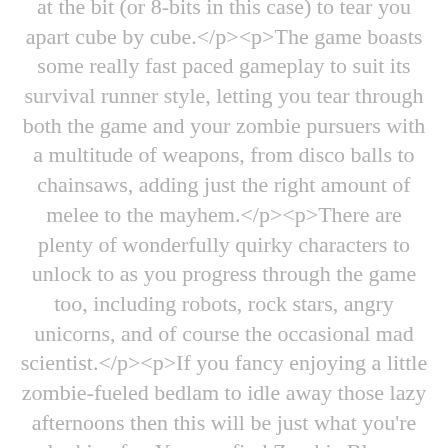at the bit (or 8-bits in this case) to tear you apart cube by cube.</p><p>The game boasts some really fast paced gameplay to suit its survival runner style, letting you tear through both the game and your zombie pursuers with a multitude of weapons, from disco balls to chainsaws, adding just the right amount of melee to the mayhem.</p><p>There are plenty of wonderfully quirky characters to unlock to as you progress through the game too, including robots, rock stars, angry unicorns, and of course the occasional mad scientist.</p><p>If you fancy enjoying a little zombie-fueled bedlam to idle away those lazy afternoons then this will be just what you're looking for. You can find Zombie Bloxx available to download now on the App Store and Google Play.</p>...